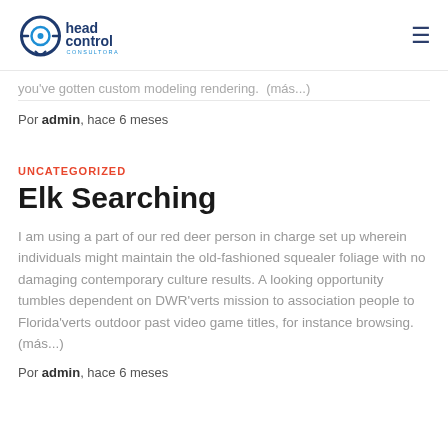head control consultora [logo] [hamburger menu]
you've gotten custom modeling rendering.  (más...)
Por admin, hace 6 meses
UNCATEGORIZED
Elk Searching
I am using a part of our red deer person in charge set up wherein individuals might maintain the old-fashioned squealer foliage with no damaging contemporary culture results. A looking opportunity tumbles dependent on DWR'verts mission to association people to Florida'verts outdoor past video game titles, for instance browsing.  (más...)
Por admin, hace 6 meses